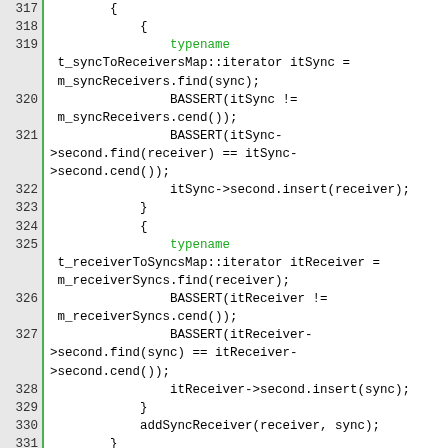[Figure (screenshot): Source code listing showing C++ code lines 317-337 with line numbers on the left separated by a green border. Code involves syncToReceiversMap and receiverToSyncsMap iterators, BASSERT calls, and removeLinkSyncReceiverMaster function. Keywords 'typename' and 'const' are highlighted in green.]